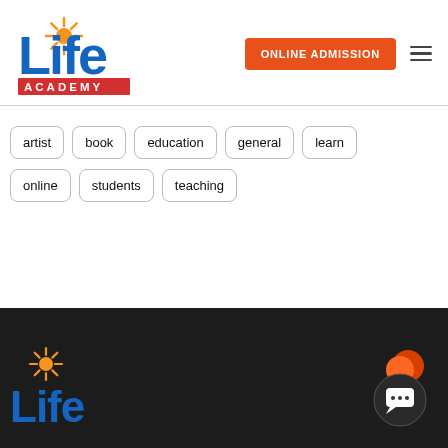[Figure (logo): Life Academy logo with sun graphic and red 'ACADEMY' text on red background]
ONLINE ADMISSION
artist
book
education
general
learn
online
students
teaching
[Figure (logo): Life Academy logo partial, on dark footer background]
[Figure (illustration): Chat bubble icon on dark background, orange circle above]